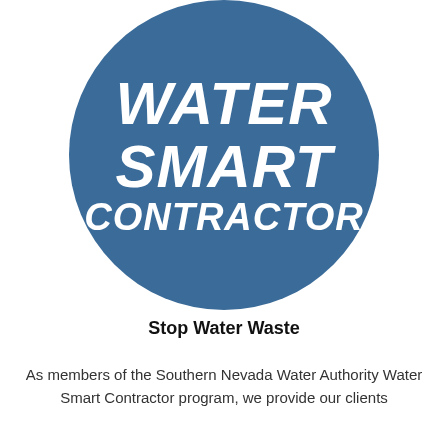[Figure (logo): Blue circular logo with white bold italic text reading 'WATER SMART CONTRACTOR' on a steel blue background circle]
Stop Water Waste
As members of the Southern Nevada Water Authority Water Smart Contractor program, we provide our clients